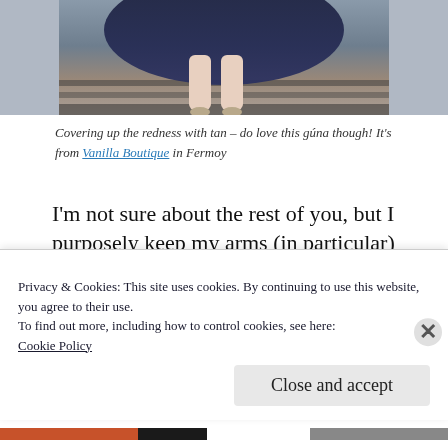[Figure (photo): Partial image of a woman in a dark navy gown and high heels, sitting on steps, showing legs from waist down.]
Covering up the redness with tan – do love this gúna though! It's from Vanilla Boutique in Fermoy
I'm not sure about the rest of you, but I purposely keep my arms (in particular) covered. The problem with translucent skin is that redness shows constantly – I know for me, it means my arms end up looking like someone has slapped me, and the rest of my skin is
Privacy & Cookies: This site uses cookies. By continuing to use this website, you agree to their use.
To find out more, including how to control cookies, see here:
Cookie Policy
Close and accept